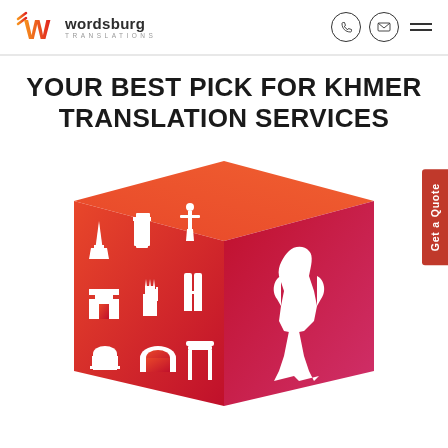wordsburg TRANSLATIONS
YOUR BEST PICK FOR KHMER TRANSLATION SERVICES
[Figure (illustration): 3D red-to-pink gradient cube with white silhouettes of world landmarks including Eiffel Tower, Leaning Tower of Pisa, Christ the Redeemer, Arc de Triomphe, Statue of Liberty, Petronas Towers, Merlion, Colosseum, Torii Gate, and other monuments on its faces.]